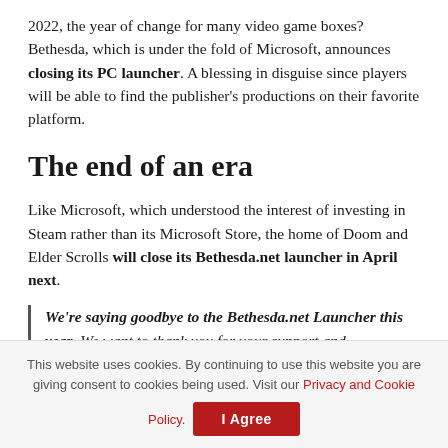2022, the year of change for many video game boxes? Bethesda, which is under the fold of Microsoft, announces closing its PC launcher. A blessing in disguise since players will be able to find the publisher's productions on their favorite platform.
The end of an era
Like Microsoft, which understood the interest of investing in Steam rather than its Microsoft Store, the home of Doom and Elder Scrolls will close its Bethesda.net launcher in April next.
We're saying goodbye to the Bethesda.net Launcher this year. We want to thank you for your support and
This website uses cookies. By continuing to use this website you are giving consent to cookies being used. Visit our Privacy and Cookie Policy.